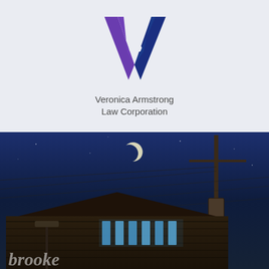[Figure (logo): Veronica Armstrong Law Corporation logo — stylized 'VA' letters in purple and blue, with company name below]
1.604.644.9232
[Figure (photo): Nighttime photo of a brick building with a crescent moon in a dark blue sky and a utility pole with power lines on the right. Partial text 'brooke' visible at bottom left.]